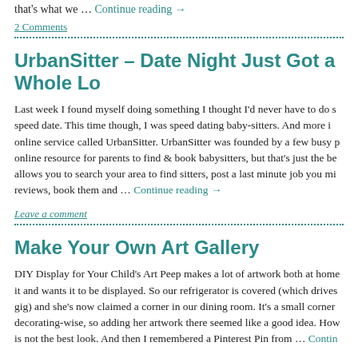that's what we … Continue reading →
2 Comments
UrbanSitter – Date Night Just Got a Whole Lo
Last week I found myself doing something I thought I'd never have to do s speed date. This time though, I was speed dating baby-sitters.  And more i online service called UrbanSitter. UrbanSitter was founded by a few busy p online resource for parents to find & book babysitters, but that's just the be allows you to search your area to find sitters, post a last minute job you mi reviews, book them and … Continue reading →
Leave a comment
Make Your Own Art Gallery
DIY Display for Your Child's Art Peep makes a lot of artwork both at home it and wants it to be displayed.  So our refrigerator is covered (which drives gig) and she's now claimed a corner in our dining room.  It's a small corner decorating-wise, so adding her artwork there seemed like a good idea.  How is not the best look.  And then I remembered a Pinterest Pin from … Contin